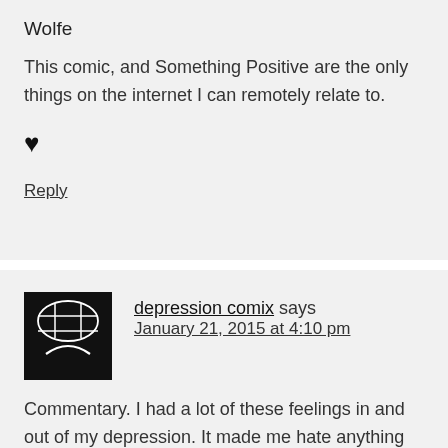Wolfe
This comic, and Something Positive are the only things on the internet I can remotely relate to.
♥
Reply
depression comix says January 21, 2015 at 4:10 pm
Commentary. I had a lot of these feelings in and out of my depression. It made me hate anything slightly pleasurable